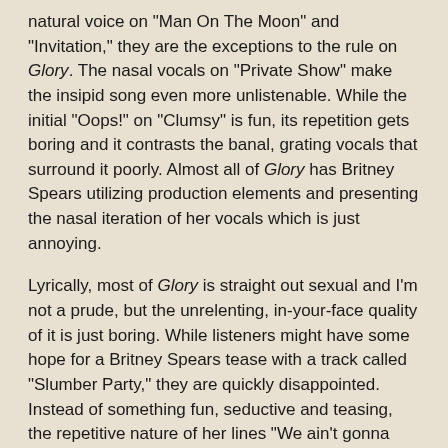natural voice on "Man On The Moon" and "Invitation," they are the exceptions to the rule on Glory. The nasal vocals on "Private Show" make the insipid song even more unlistenable. While the initial "Oops!" on "Clumsy" is fun, its repetition gets boring and it contrasts the banal, grating vocals that surround it poorly. Almost all of Glory has Britney Spears utilizing production elements and presenting the nasal iteration of her vocals which is just annoying.
Lyrically, most of Glory is straight out sexual and I'm not a prude, but the unrelenting, in-your-face quality of it is just boring. While listeners might have some hope for a Britney Spears tease with a track called "Slumber Party," they are quickly disappointed. Instead of something fun, seductive and teasing, the repetitive nature of her lines "We ain't gonna sleep tonight / Cause we got them candles hanging /Hanging from the ceiling low /We use our bodies to make our own videos / Put on our music that makes us go fucking crazy" ("Slumber Party") beats the listener over-the-head with the "Britney's open for business" theme of Glory. Hell, even Avril Lavigne's "Hello Kitty" is more fun, quirky, and subtle than "Slumber Party!"